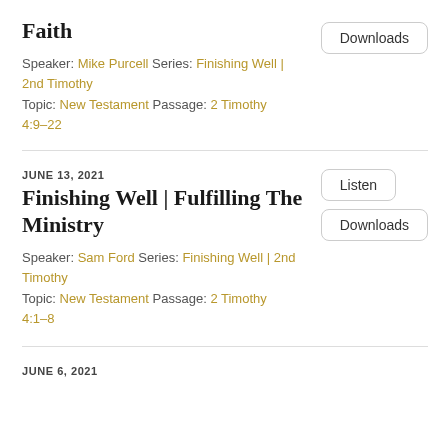Faith
Speaker: Mike Purcell Series: Finishing Well | 2nd Timothy
Topic: New Testament Passage: 2 Timothy 4:9–22
Downloads
JUNE 13, 2021
Finishing Well | Fulfilling The Ministry
Speaker: Sam Ford Series: Finishing Well | 2nd Timothy
Topic: New Testament Passage: 2 Timothy 4:1–8
Listen
Downloads
JUNE 6, 2021